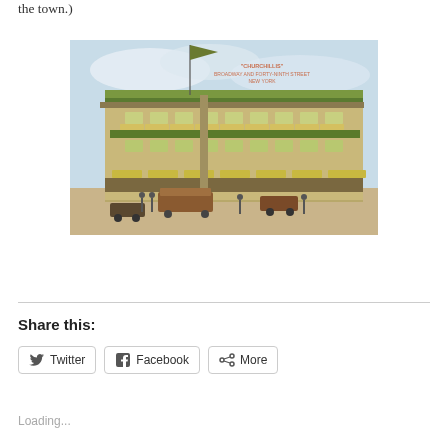the town.)
[Figure (photo): Historical color postcard illustration of 'Churchillis' at Broadway and Forty-Ninth Street, New York. A large ornate multi-story building with striped awnings, rooftop greenery, a flag on a pole, and early 20th century street scene with trolley car, automobiles, and pedestrians.]
Share this:
Twitter
Facebook
More
Loading...